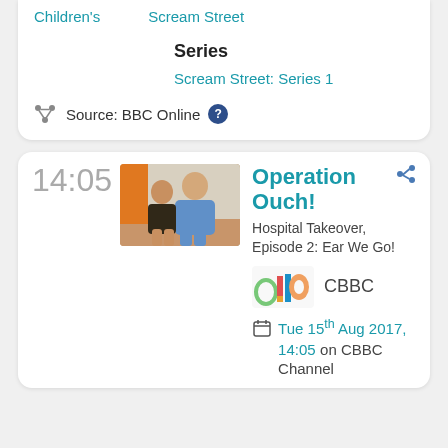Children's   Scream Street
Series
Scream Street: Series 1
Source: BBC Online ?
14:05
[Figure (photo): Two people sitting together, one in a blue medical outfit]
Operation Ouch!
Hospital Takeover, Episode 2: Ear We Go!
[Figure (logo): CBBC channel logo with colourful shapes]
CBBC
Tue 15th Aug 2017, 14:05 on CBBC Channel